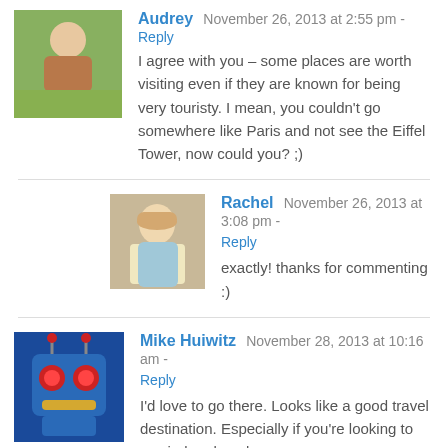Audrey  November 26, 2013 at 2:55 pm - Reply
I agree with you – some places are worth visiting even if they are known for being very touristy. I mean, you couldn't go somewhere like Paris and not see the Eiffel Tower, now could you? ;)
Rachel  November 26, 2013 at 3:08 pm - Reply
exactly! thanks for commenting :)
Mike Huiwitz  November 28, 2013 at 10:16 am - Reply
I'd love to go there. Looks like a good travel destination. Especially if you're looking to unwind and unplug.
Jessica Wray  November 29, 2013 at 3:20 pm -